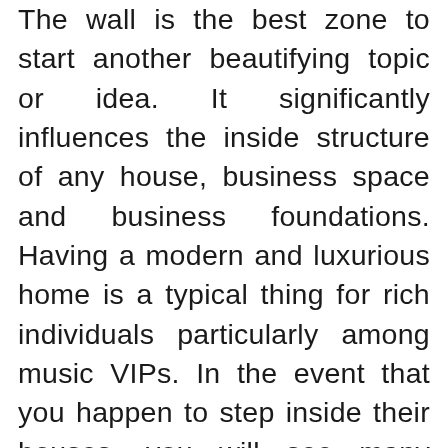The wall is the best zone to start another beautifying topic or idea. It significantly influences the inside structure of any house, business space and business foundations. Having a modern and luxurious home is a typical thing for rich individuals particularly among music VIPs. In the event that you happen to step inside their houses, you will see many current wall artwork and music wall stylistic theme. The walls are secured inside encircled pictures, collections, most loved outfits, vinyl records, music wall art and even old instruments. The wall of our home can be utilized to speak to our character in a quick manner. Be that as it may, regardless of whether you are not a pop star but rather you have that uncommon energy for music, you can